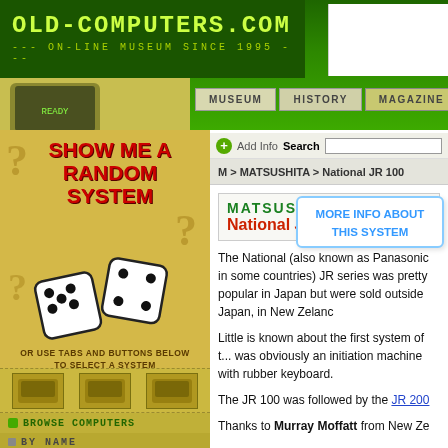OLD-COMPUTERS.COM --- ON-LINE MUSEUM SINCE 1995 ---
[Figure (screenshot): Old-style computer illustration on green background header]
SHOW ME A RANDOM SYSTEM
OR USE TABS AND BUTTONS BELOW TO SELECT A SYSTEM
BROWSE COMPUTERS
BY NAME
M > MATSUSHITA > National JR 100
MATSUSHITA
National JR 100
MORE INFO ABOUT THIS SYSTEM
The National (also known as Panasonic in some countries) JR series was pretty popular in Japan but were sold outside Japan, in New Zelan...
Little is known about the first system of t... was obviously an initiation machine with rubber keyboard.
The JR 100 was followed by the JR 200...
Thanks to Murray Moffatt from New Ze...